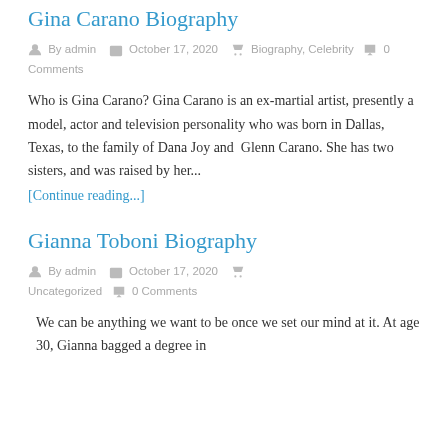Gina Carano Biography
By admin   October 17, 2020    Biography, Celebrity   0 Comments
Who is Gina Carano? Gina Carano is an ex-martial artist, presently a model, actor and television personality who was born in Dallas, Texas, to the family of Dana Joy and  Glenn Carano. She has two sisters, and was raised by her...
[Continue reading...]
Gianna Toboni Biography
By admin   October 17, 2020    Uncategorized   0 Comments
We can be anything we want to be once we set our mind at it. At age 30, Gianna bagged a degree in